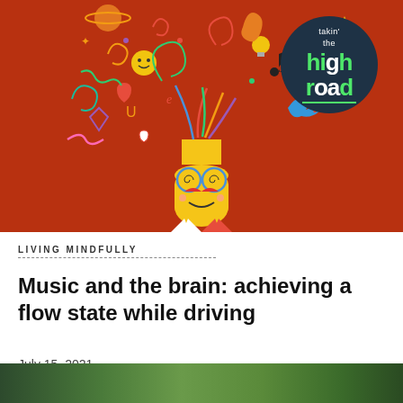[Figure (illustration): Colorful cartoon illustration of a stylized yellow face/head with glasses, red mustache, and a smiley face, with colorful doodles and swirls erupting from the top of the head on a dark red/orange background. A dark navy circular badge in the top-right reads 'takin' the high road' with 'high road' in green text.]
LIVING MINDFULLY
Music and the brain: achieving a flow state while driving
July 15, 2021
[Figure (photo): Partial photo strip at the bottom of the page showing a green outdoor/nature scene, partially cropped.]